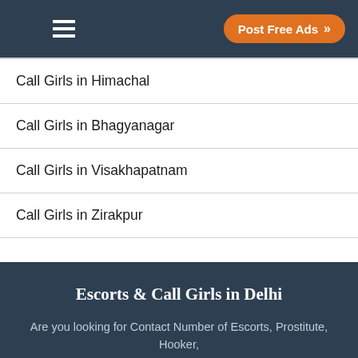Post Free Ads
Call Girls in Himachal
Call Girls in Bhagyanagar
Call Girls in Visakhapatnam
Call Girls in Zirakpur
Escorts & Call Girls in Delhi
Are you looking for Contact Number of Escorts, Prostitute, Hooker,